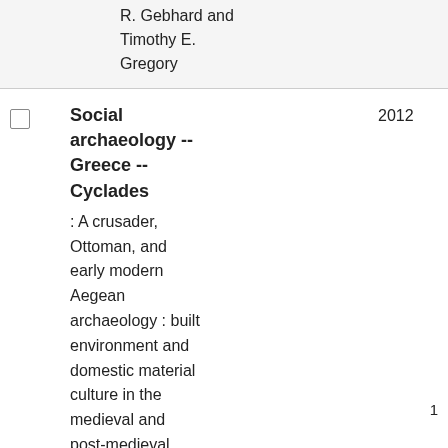R. Gebhard and Timothy E. Gregory
|  | Social archaeology -- Greece -- Cyclades | 2012 |
|  | : A crusader, Ottoman, and early modern Aegean archaeology : built environment and domestic material culture in the medieval and post-medieval Cyclades, Greece |  |
1